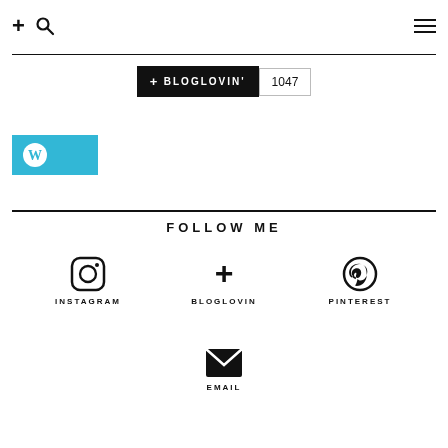+ (search icon) [hamburger menu]
[Figure (infographic): Bloglovin follow button with count 1047]
[Figure (logo): WordPress follow button in teal/cyan color]
FOLLOW ME
[Figure (infographic): Social media icons: Instagram, Bloglovin, Pinterest, Email]
INSTAGRAM
BLOGLOVIN
PINTEREST
EMAIL